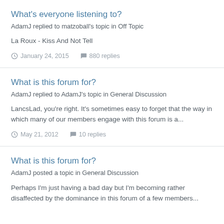What's everyone listening to?
AdamJ replied to matzoball's topic in Off Topic
La Roux - Kiss And Not Tell
January 24, 2015   880 replies
What is this forum for?
AdamJ replied to AdamJ's topic in General Discussion
LancsLad, you're right. It's sometimes easy to forget that the way in which many of our members engage with this forum is a...
May 21, 2012   10 replies
What is this forum for?
AdamJ posted a topic in General Discussion
Perhaps I'm just having a bad day but I'm becoming rather disaffected by the dominance in this forum of a few members...